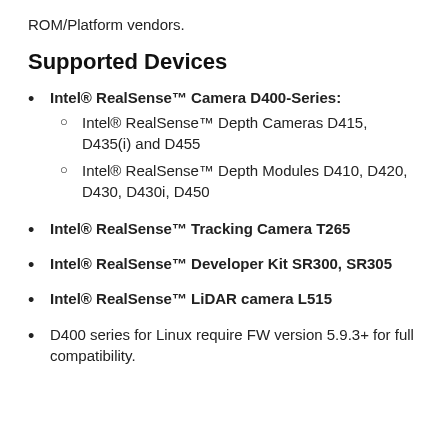ROM/Platform vendors.
Supported Devices
Intel® RealSense™ Camera D400-Series:
Intel® RealSense™ Depth Cameras D415, D435(i) and D455
Intel® RealSense™ Depth Modules D410, D420, D430, D430i, D450
Intel® RealSense™ Tracking Camera T265
Intel® RealSense™ Developer Kit SR300, SR305
Intel® RealSense™ LiDAR camera L515
D400 series for Linux require FW version 5.9.3+ for full compatibility.